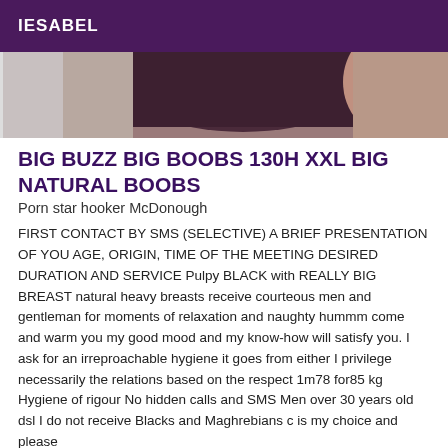IESABEL
[Figure (photo): Cropped photo showing upper torso area with dark clothing, partial view of a person]
BIG BUZZ BIG BOOBS 130H XXL BIG NATURAL BOOBS
Porn star hooker McDonough
FIRST CONTACT BY SMS (SELECTIVE) A BRIEF PRESENTATION OF YOU AGE, ORIGIN, TIME OF THE MEETING DESIRED DURATION AND SERVICE Pulpy BLACK with REALLY BIG BREAST natural heavy breasts receive courteous men and gentleman for moments of relaxation and naughty hummm come and warm you my good mood and my know-how will satisfy you. I ask for an irreproachable hygiene it goes from either I privilege necessarily the relations based on the respect 1m78 for85 kg Hygiene of rigour No hidden calls and SMS Men over 30 years old dsl I do not receive Blacks and Maghrebians c is my choice and please